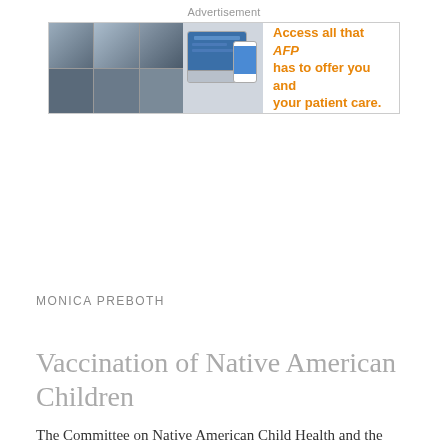Advertisement
[Figure (other): Advertisement banner for AFP (American Family Physician) showing medical images on the left side and a laptop/phone device in the center, with orange bold text on the right reading: Access all that AFP has to offer you and your patient care.]
MONICA PREBOTH
Vaccination of Native American Children
The Committee on Native American Child Health and the